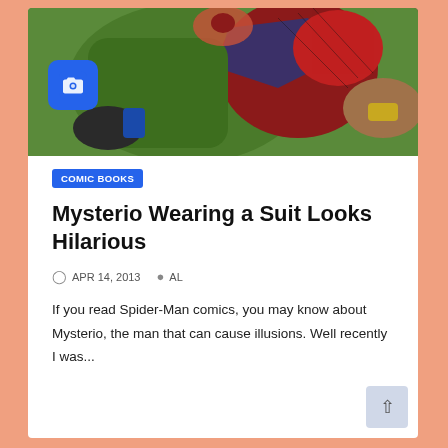[Figure (illustration): Comic book illustration showing Mysterio in green costume and Spider-Man in red costume, partial view of characters in action scene. A blue camera icon badge overlaid in lower-left of image.]
COMIC BOOKS
Mysterio Wearing a Suit Looks Hilarious
APR 14, 2013   AL
If you read Spider-Man comics, you may know about Mysterio, the man that can cause illusions. Well recently I was...